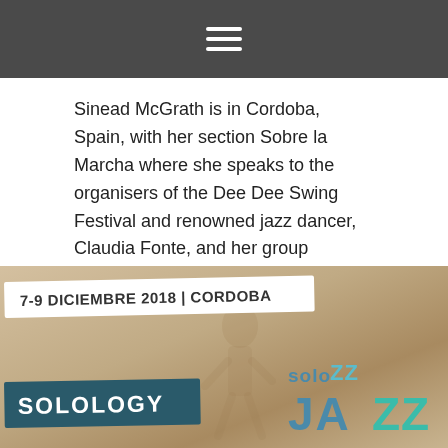≡
Sinead McGrath is in Cordoba, Spain, with her section Sobre la Marcha where she speaks to the organisers of the Dee Dee Swing Festival and renowned jazz dancer, Claudia Fonte, and her group Solology, a project created with curiosity and excitement to find inspiration in the differences among individual dancers and shaped by finding and developing tools for individual improvement and growth while encouraging self-confidence and responsibility towards oneself and the group.
[Figure (illustration): Festival promotional image for Solology Solo Jazz event in Cordoba, showing date banner '7-9 DICIEMBRE 2018 | CORDOBA', a dark teal 'SOLOLOGY' banner on the left, and 'soloJAZZ' text logo on the right, against a warm beige background with faint dancer silhouettes.]